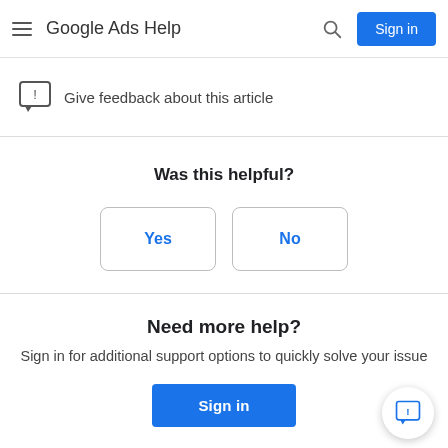Google Ads Help
Give feedback about this article
Was this helpful?
Yes
No
Need more help?
Sign in for additional support options to quickly solve your issue
Sign in